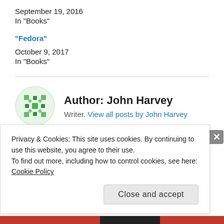September 19, 2016
In "Books"
"Fedora"
October 9, 2017
In "Books"
Author: John Harvey
Writer. View all posts by John Harvey
Privacy & Cookies: This site uses cookies. By continuing to use this website, you agree to their use.
To find out more, including how to control cookies, see here: Cookie Policy